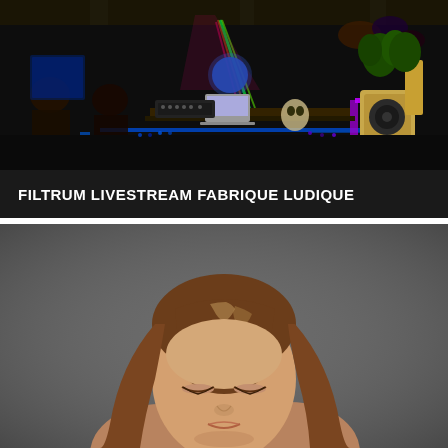[Figure (photo): Dark indoor venue photo showing a DJ or performer at a table with laptop and synthesizers, colorful neon lights (pink, blue, green) in background, speaker on right, palm plant, audience silhouettes on left, industrial warehouse-like setting.]
FILTRUM LIVESTREAM FABRIQUE LUDIQUE
[Figure (photo): Portrait photo of a young woman with long brown hair, looking downward, gray background. Yellow circle logo with sound wave / equalizer icon in upper left corner.]